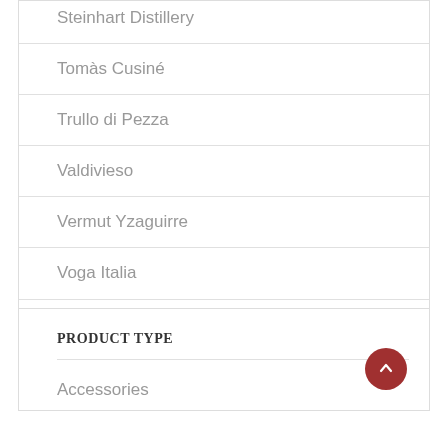Steinhart Distillery
Tomàs Cusiné
Trullo di Pezza
Valdivieso
Vermut Yzaguirre
Voga Italia
Weihenstephan Beer
PRODUCT TYPE
Accessories